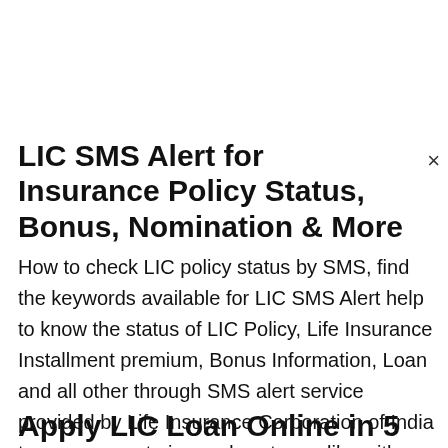LIC SMS Alert for Insurance Policy Status, Bonus, Nomination & More
How to check LIC policy status by SMS, find the keywords available for LIC SMS Alert help to know the status of LIC Policy, Life Insurance Installment premium, Bonus Information, Loan and all other through SMS alert service provided by Life Insurance Corporation of India to serve more to insured customer like with LIC login
Apply LIC Loan Online in 5 Steps on